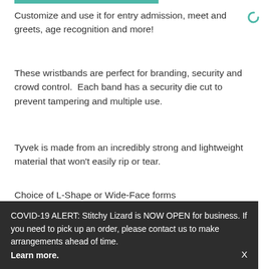Customize and use it for entry admission, meet and greets, age recognition and more!
These wristbands are perfect for branding, security and crowd control.  Each band has a security die cut to prevent tampering and multiple use.
Tyvek is made from an incredibly strong and lightweight material that won't easily rip or tear.
Choice of L-Shape or Wide-Face forms
Imprint Area:
Wide Face- 2 1/2" x 3/4"
L-Shape- 3 13/16" x 1/2"
COVID-19 ALERT: Stitchy Lizard is NOW OPEN for business. If you need to pick up an order, please contact us to make arrangements ahead of time. Learn more.